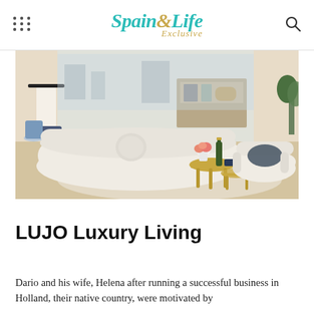Spain & Life Exclusive
[Figure (photo): Luxury living room interior with a curved cream/beige sofa, round gold side tables with a champagne bottle, flowers in a vase, and a white armchair with dark cushion. Lamp and decorative items visible in the background.]
LUJO Luxury Living
Dario and his wife, Helena after running a successful business in Holland, their native country, were motivated by